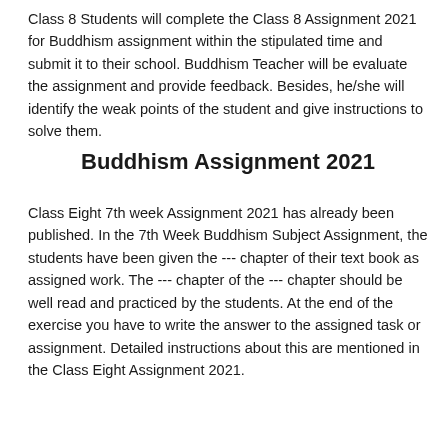Class 8 Students will complete the Class 8 Assignment 2021 for Buddhism assignment within the stipulated time and submit it to their school. Buddhism Teacher will be evaluate the assignment and provide feedback. Besides, he/she will identify the weak points of the student and give instructions to solve them.
Buddhism Assignment 2021
Class Eight 7th week Assignment 2021 has already been published. In the 7th Week Buddhism Subject Assignment, the students have been given the --- chapter of their text book as assigned work. The --- chapter of the --- chapter should be well read and practiced by the students. At the end of the exercise you have to write the answer to the assigned task or assignment. Detailed instructions about this are mentioned in the Class Eight Assignment 2021.